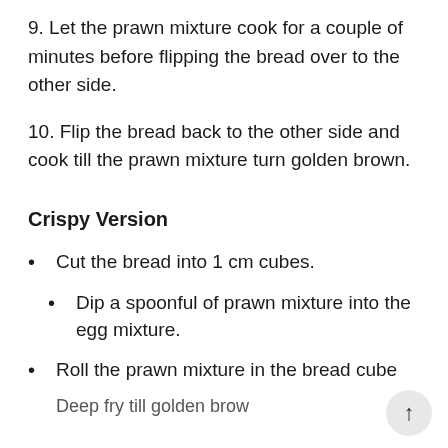9. Let the prawn mixture cook for a couple of minutes before flipping the bread over to the other side.
10. Flip the bread back to the other side and cook till the prawn mixture turn golden brown.
Crispy Version
Cut the bread into 1 cm cubes.
Dip a spoonful of prawn mixture into the egg mixture.
Roll the prawn mixture in the bread cube